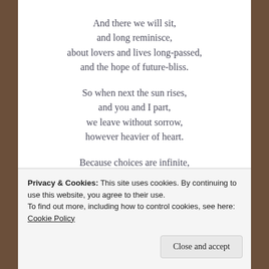And there we will sit,
and long reminisce,
about lovers and lives long-passed,
and the hope of future-bliss.

So when next the sun rises,
and you and I part,
we leave without sorrow,
however heavier of heart.

Because choices are infinite,
Privacy & Cookies: This site uses cookies. By continuing to use this website, you agree to their use.
To find out more, including how to control cookies, see here: Cookie Policy
Close and accept